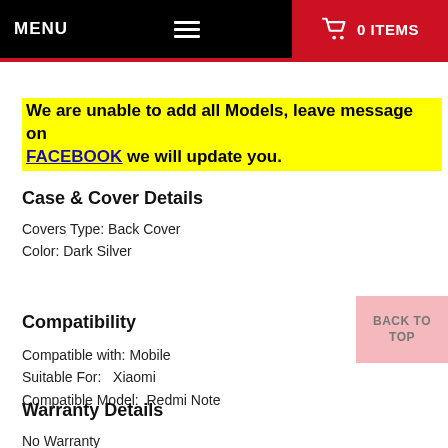MENU  ≡  🛒 0 ITEMS
We are unable to add all Models, leave message on FACEBOOK we will update you.
Case & Cover Details
Covers Type: Back Cover
Color: Dark Silver
Compatibility
Compatible with: Mobile
Suitable For:   Xiaomi
Compatible Model:  Redmi Note
Warranty Details
No Warranty